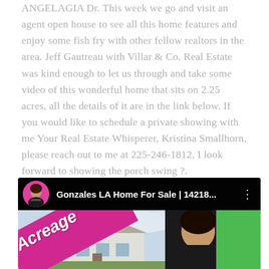ANGELAGIA Dr. This week we go and visit an agent open house to see all this home features and enjoy some fish fry with other fellow realtors in the area. Jeff Gautreau with Villar & Co. Real Estate was kind enough to let us through and take some video of this wonderful home that sits on 2.25 acres, all the details of it are in the link below. If you would like to schedule a private showing with me Your Real Estate Whisperer, Kristina Smallhorn, please reach out to me at 225-246-1812, I look forward to showing the porch swing ?.
[Figure (screenshot): YouTube video thumbnail for 'Gonzales LA Home For Sale | 14218...' showing a pink/magenta diagonal 'Acreage' banner overlaid on a house photo, with a woman's face on the right side and a green background patch. The top bar shows a circular profile photo of a woman on a pink background, the video title, and a three-dot menu icon.]